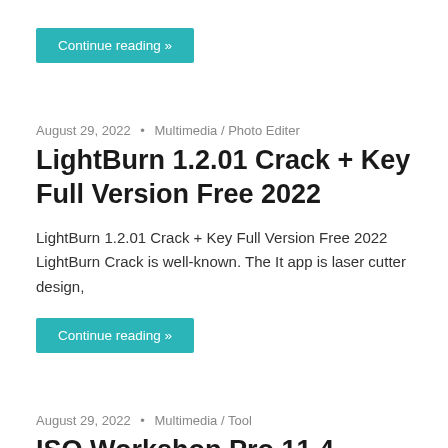Continue reading »
August 29, 2022 • Multimedia / Photo Editer
LightBurn 1.2.01 Crack + Key Full Version Free 2022
LightBurn 1.2.01 Crack + Key Full Version Free 2022 LightBurn Crack is well-known. The It app is laser cutter design,
Continue reading »
August 29, 2022 • Multimedia / Tool
ISO Workshop Pro 11.4 Crack +